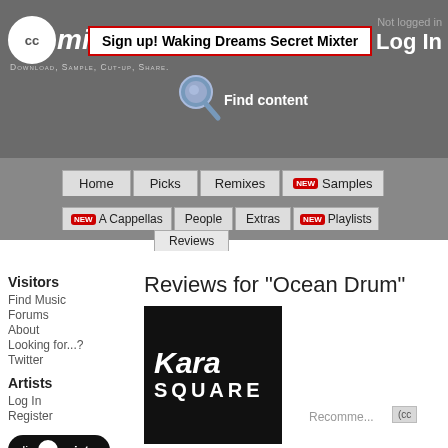ccMixter - Download, Sample, Cut-up, Share.
Sign up! Waking Dreams Secret Mixter
Not logged in
Log In
Find content
Home | Picks | Remixes | NEW Samples
NEW A Cappellas | People | Extras | NEW Playlists | Reviews
Visitors
Find Music
Forums
About
Looking for...?
Twitter
Artists
Log In
Register
[Figure (logo): dig ccMixter logo - dark oval badge with CC symbol]
Search our archives for music for your video, podcast or school project at dig.ccMixter
Support ccMixter
[Figure (logo): ccMixter logo small]
Editors' Picks
Reviews for "Ocean Drum"
[Figure (photo): Kara Square album art - black square with white Kara Square text]
Ocean Drum
by Kara Square
Thu, May 6, 2021 @ 11:09 AM
Recomme...
whale_songs, sample, media, bpm_095_100, ccplus, beat, loops, ocean, drum, ocean_drum, cymbals, crash, pulse
Play
Stream
Downloads
Details